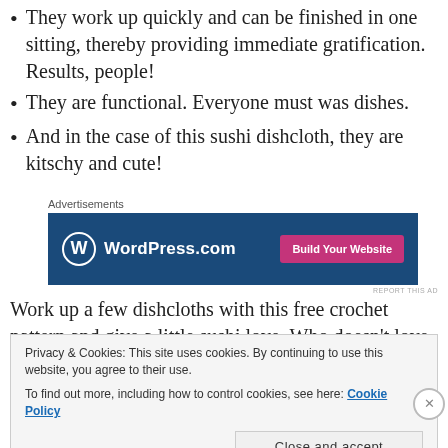They work up quickly and can be finished in one sitting, thereby providing immediate gratification. Results, people!
They are functional.  Everyone must was dishes.
And in the case of this sushi dishcloth, they are kitschy and cute!
[Figure (screenshot): WordPress.com advertisement banner with logo and 'Build Your Website' button on dark blue background]
Work up a few dishcloths with this free crochet pattern and give a little sushi love.  Who doesn't love kitschy
Privacy & Cookies: This site uses cookies. By continuing to use this website, you agree to their use.
To find out more, including how to control cookies, see here: Cookie Policy